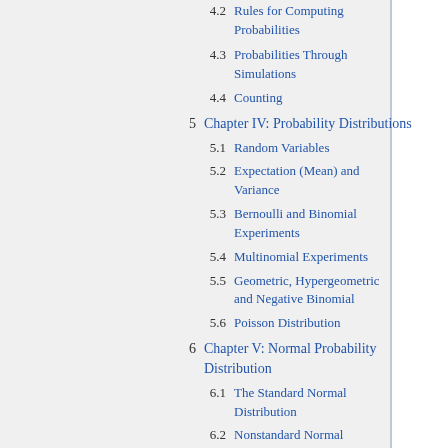4.2 Rules for Computing Probabilities
4.3 Probabilities Through Simulations
4.4 Counting
5 Chapter IV: Probability Distributions
5.1 Random Variables
5.2 Expectation (Mean) and Variance
5.3 Bernoulli and Binomial Experiments
5.4 Multinomial Experiments
5.5 Geometric, Hypergeometric and Negative Binomial
5.6 Poisson Distribution
6 Chapter V: Normal Probability Distribution
6.1 The Standard Normal Distribution
6.2 Nonstandard Normal